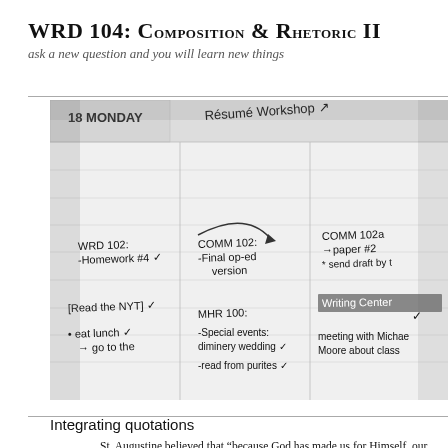WRD 104: Composition & Rhetoric II
ask a new question and you will learn new things
[Figure (photo): Photograph of a student planner/agenda showing handwritten notes for various classes including WRD 102 homework #4, COMM 102 final op-ed version, COMM 102a paper #2 send draft, read the NYT, eat lunch, go to the, MHR 100 special events diminery wedding, writing center, meeting with Michael Moore about class, and other tasks. Date shown is 18 Monday with Resume Workshop visible at top.]
Integrating quotations
St. Augustine believed that “because God has made us for Himself, our heart